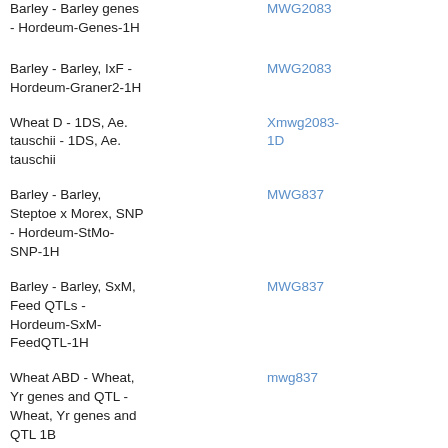| Map | Marker |
| --- | --- |
| Barley - Barley genes - Hordeum-Genes-1H | MWG2083 |
| Barley - Barley, IxF - Hordeum-Graner2-1H | MWG2083 |
| Wheat D - 1DS, Ae. tauschii - 1DS, Ae. tauschii | Xmwg2083-1D |
| Barley - Barley, Steptoe x Morex, SNP - Hordeum-StMo-SNP-1H | MWG837 |
| Barley - Barley, SxM, Feed QTLs - Hordeum-SxM-FeedQTL-1H | MWG837 |
| Wheat ABD - Wheat, Yr genes and QTL - Wheat, Yr genes and QTL 1B | mwg837 |
| Barley - Barley, Consensus 2006, DArT - Hordeum-Consensus2006-DArT-1H | MWG837 |
| Barley - Barley, |  |